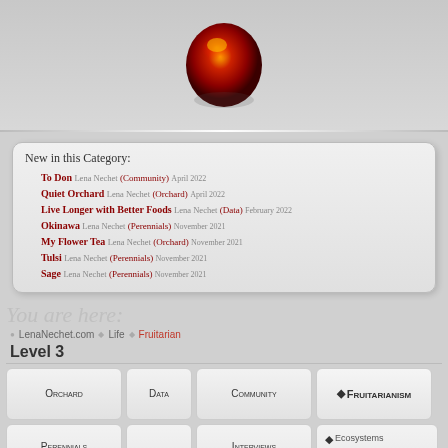[Figure (illustration): A shiny red apple (or tomato-like fruit) with orange/yellow highlight, partially cropped at top, on a gray gradient background]
New in this Category:
To Don Lena Nechet (Community) April 2022
Quiet Orchard Lena Nechet (Orchard) April 2022
Live Longer with Better Foods Lena Nechet (Data) February 2022
Okinawa Lena Nechet (Perennials) November 2021
My Flower Tea Lena Nechet (Orchard) November 2021
Tulsi Lena Nechet (Perennials) November 2021
Sage Lena Nechet (Perennials) November 2021
You are here:
LenaNechet.com · Life · Fruitarian
Level 3
Orchard | Data | Community | ◆Fruitarianism
Perennials | Interviews | ◆Ecosystems
Annuals | Responses